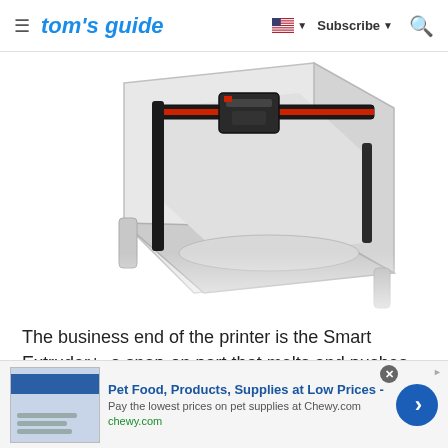tom's guide | Subscribe
[Figure (photo): 3D printer showing the Smart Extruder+ mechanism from a top-down angle. The printer frame is light gray/white with a red and black extruder assembly visible at the top.]
The business end of the printer is the Smart Extruder+, a snap-on part that melts and pushes the
[Figure (infographic): Advertisement banner: Pet Food, Products, Supplies at Low Prices - Pay the lowest prices on pet supplies at Chewy.com. chewy.com]